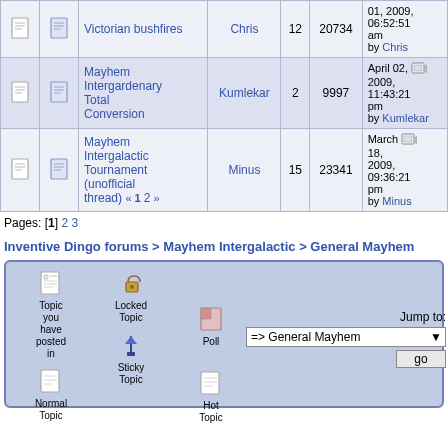|  |  | Topic | Started by | Replies | Views | Last post |
| --- | --- | --- | --- | --- | --- | --- |
| [icon] | [icon] | Victorian bushfires | Chris | 12 | 20734 | 01, 2009, 06:52:51 am by Chris |
| [icon] | [icon] | Mayhem Intergardenary Total Conversion | Kumlekar | 2 | 9997 | April 02, 2009, 11:43:21 pm by Kumlekar |
| [icon] | [icon] | Mayhem Intergalactic Tournament (unofficial thread) « 1 2 » | Minus | 15 | 23341 | March 18, 2009, 09:36:21 pm by Minus |
Pages: [1] 2 3
Inventive Dingo forums > Mayhem Intergalactic > General Mayhem
[Figure (infographic): Forum legend box showing icons for: Topic you have posted in, Locked Topic, Sticky Topic, Normal Topic, Poll, Hot Topic; with Jump to dropdown showing => General Mayhem and go button]